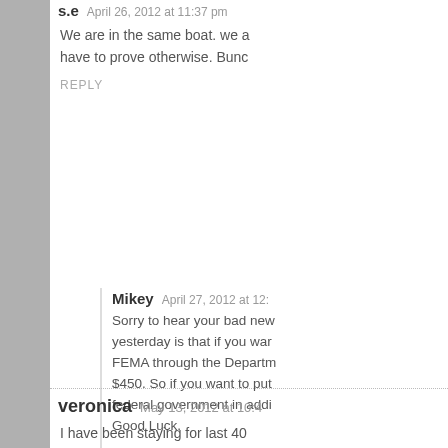s.e   April 26, 2012 at 11:37 pm
We are in the same boat. we a... have to prove otherwise. Bunc...
REPLY
Mikey   April 27, 2012 at 12:...
Sorry to hear your bad new... yesterday is that if you war... FEMA through the Departm... $450. So if you want to put... federal government in addi... Good Luck.
REPLY
veronica   May 13, 2012 at 10:4...
I have been staying for last 40... down, unfortunately I don't hav...